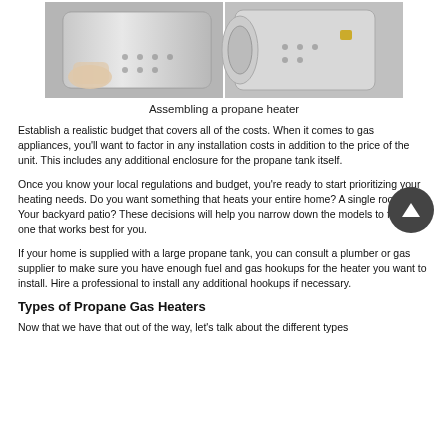[Figure (photo): Two images side by side showing hands assembling a propane heater — left image shows hands holding a cylindrical stainless steel component, right image shows the heater assembly from a different angle]
Assembling a propane heater
Establish a realistic budget that covers all of the costs. When it comes to gas appliances, you'll want to factor in any installation costs in addition to the price of the unit. This includes any additional enclosure for the propane tank itself.
Once you know your local regulations and budget, you're ready to start prioritizing your heating needs. Do you want something that heats your entire home? A single room? Your backyard patio? These decisions will help you narrow down the models to find the one that works best for you.
If your home is supplied with a large propane tank, you can consult a plumber or gas supplier to make sure you have enough fuel and gas hookups for the heater you want to install. Hire a professional to install any additional hookups if necessary.
Types of Propane Gas Heaters
Now that we have that out of the way, let's talk about the different types